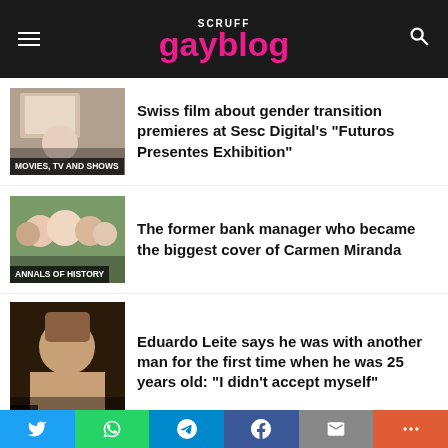SCRUFF gayblog
Swiss film about gender transition premieres at Sesc Digital's “Futuros Presentes Exhibition”
The former bank manager who became the biggest cover of Carmen Miranda
Eduardo Leite says he was with another man for the first time when he was 25 years old: “I didn’t accept myself”
Anitta will attend a New Year’s party hosted by Miley Cyrus